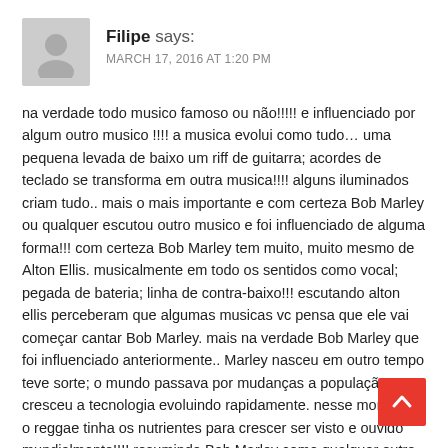[Figure (illustration): Gray avatar/placeholder user icon for comment author]
Filipe says:
MARCH 17, 2016 AT 1:20 PM
na verdade todo musico famoso ou não!!!!! e influenciado por algum outro musico !!!! a musica evolui como tudo… uma pequena levada de baixo um riff de guitarra; acordes de teclado se transforma em outra musica!!!! alguns iluminados criam tudo.. mais o mais importante e com certeza Bob Marley ou qualquer escutou outro musico e foi influenciado de alguma forma!!! com certeza Bob Marley tem muito, muito mesmo de Alton Ellis. musicalmente em todo os sentidos como vocal; pegada de bateria; linha de contra-baixo!!! escutando alton ellis perceberam que algumas musicas vc pensa que ele vai começar cantar Bob Marley. mais na verdade Bob Marley que foi influenciado anteriormente.. Marley nasceu em outro tempo teve sorte; o mundo passava por mudanças a população cresceu a tecnologia evoluindo rapidamente. nesse momento o reggae tinha os nutrientes para crescer ser visto e ouvido mundialmente!!!! resumindo Bob Marley como qualquer outro musico foi